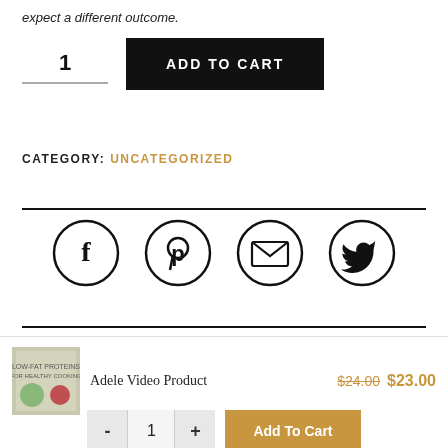expect a different outcome.
1  ADD TO CART
CATEGORY: UNCATEGORIZED
[Figure (other): Social media share icons: Facebook, Pinterest, Email, Twitter — circular outlined icons]
Adele Video Product  $24.00  $23.00
- 1 + Add To Cart